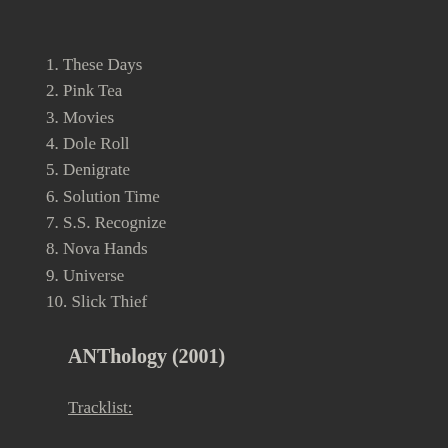1. These Days
2. Pink Tea
3. Movies
4. Dole Roll
5. Denigrate
6. Solution Time
7. S.S. Recognize
8. Nova Hands
9. Universe
10. Slick Thief
ANThology (2001)
Tracklist:
1. Courage
2. Movies
3. Flesh And Bone